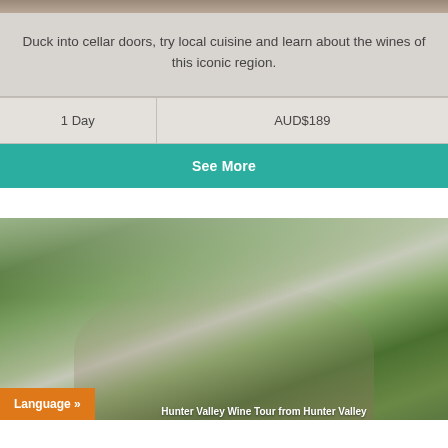[Figure (photo): Top portion of a photo (partially visible at top of page), appears to be a winery or cellar door scene]
Duck into cellar doors, try local cuisine and learn about the wines of this iconic region.
| Duration | Price |
| --- | --- |
| 1 Day | AUD$189 |
See More
[Figure (photo): Group of five people (three women and two men) standing among vineyard rows with green foliage, carrying harvest baskets, smiling at camera]
Language »
Hunter Valley Wine Tour from Hunter Valley